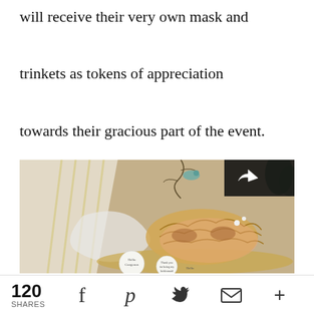will receive their very own mask and trinkets as tokens of appreciation towards their gracious part of the event. Your guest will definitely love this!
[Figure (photo): A masquerade mask (gold/rose gold glitter) with ornate filigree design, small pearl accents, displayed on a golden tray alongside floral hair accessories and small round thank-you tags that read 'Hello Gorgeous' and 'Thank you for being my bridesmaid'. A share button icon is visible in the top-right corner of the image.]
120 SHARES